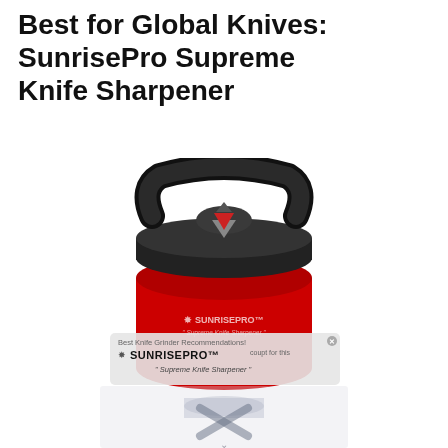Best for Global Knives: SunrisePro Supreme Knife Sharpener
[Figure (photo): SunrisePro Supreme Knife Sharpener product photo showing a red cylindrical body with black top handle mechanism and sharpening slot. An overlay panel shows the SunrisePro brand logo, text 'Best Knife Grinder Recommendations!' and 'Supreme Knife Sharpener' tagline. A partially visible second product image is faded in the lower portion.]